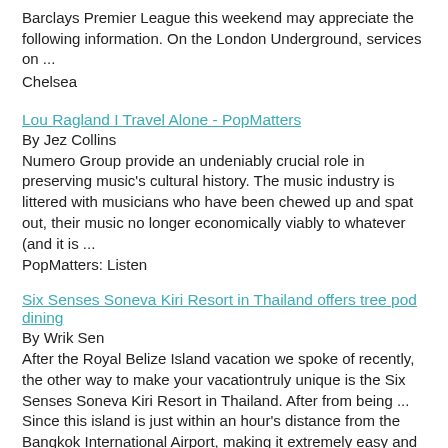Barclays Premier League this weekend may appreciate the following information. On the London Underground, services on ...
Chelsea
Lou Ragland I Travel Alone - PopMatters
By Jez Collins
Numero Group provide an undeniably crucial role in preserving music's cultural history. The music industry is littered with musicians who have been chewed up and spat out, their music no longer economically viably to whatever (and it is ...
PopMatters: Listen
Six Senses Soneva Kiri Resort in Thailand offers tree pod dining
By Wrik Sen
After the Royal Belize Island vacation we spoke of recently, the other way to make your vacationtruly unique is the Six Senses Soneva Kiri Resort in Thailand. After from being ... Since this island is just within an hour's distance from the Bangkok International Airport, making it extremely easy and